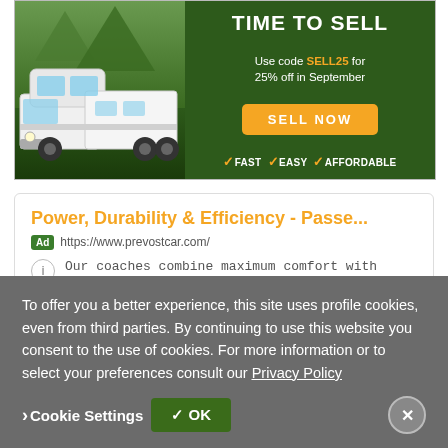[Figure (screenshot): Advertisement banner for RV selling service. Left side shows a white Class C motorhome/RV in a mountainous green forest setting. Right side has dark green background with text 'TIME TO SELL', 'Use code SELL25 for 25% off in September', orange 'SELL NOW' button, and checkmarks for FAST, EASY, AFFORDABLE.]
[Figure (screenshot): Google ad card for Prevost Car. Headline in orange: 'Power, Durability & Efficiency - Passe...'. Ad label in green and URL https://www.prevostcar.com/. Body text: 'Our coaches combine maximum comfort with power & efficiency for the best ride experience.']
To offer you a better experience, this site uses profile cookies, even from third parties. By continuing to use this website you consent to the use of cookies. For more information or to select your preferences consult our Privacy Policy
Cookie Settings
✓ OK